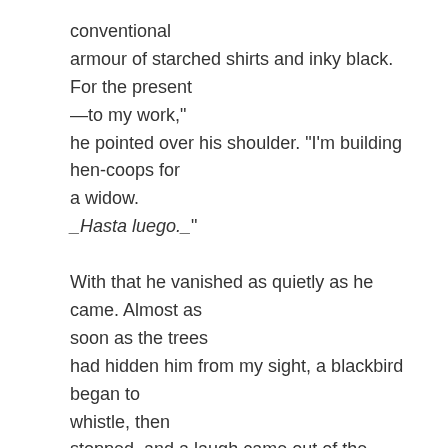conventional
armour of starched shirts and inky black. For the present
—to my work,"
he pointed over his shoulder. "I'm building hen-coops for a widow.
_Hasta luego._"
With that he vanished as quietly as he came. Almost as soon as the trees
had hidden him from my sight, a blackbird began to whistle, then
stopped, and a laugh came out of the woods.
Altogether a very strange man.
I found, when he had gone, that he had written something on a piece of
paper and had pinned it to the tree with a long thorn. It